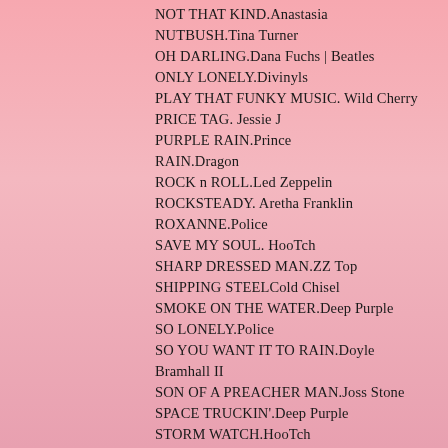NOT THAT KIND.Anastasia
NUTBUSH.Tina Turner
OH DARLING.Dana Fuchs | Beatles
ONLY LONELY.Divinyls
PLAY THAT FUNKY MUSIC. Wild Cherry
PRICE TAG. Jessie J
PURPLE RAIN.Prince
RAIN.Dragon
ROCK n ROLL.Led Zeppelin
ROCKSTEADY. Aretha Franklin
ROXANNE.Police
SAVE MY SOUL. HooTch
SHARP DRESSED MAN.ZZ Top
SHIPPING STEELCold Chisel
SMOKE ON THE WATER.Deep Purple
SO LONELY.Police
SO YOU WANT IT TO RAIN.Doyle Bramhall II
SON OF A PREACHER MAN.Joss Stone
SPACE TRUCKIN'.Deep Purple
STORM WATCH.HooTch
STAIRWAY TO HEAVEN.Led Zeppelin
SUMMER OF 69.Bryan Adams
SUPERSTITION.Stevie Wonder